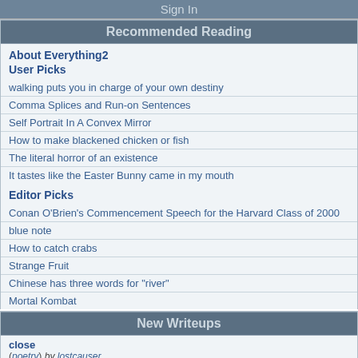Sign In
Recommended Reading
About Everything2
User Picks
walking puts you in charge of your own destiny
Comma Splices and Run-on Sentences
Self Portrait In A Convex Mirror
How to make blackened chicken or fish
The literal horror of an existence
It tastes like the Easter Bunny came in my mouth
Editor Picks
Conan O'Brien's Commencement Speech for the Harvard Class of 2000
blue note
How to catch crabs
Strange Fruit
Chinese has three words for "river"
Mortal Kombat
New Writeups
close
(poetry) by lostcauser
The literal horror of an existence
(personal) by losthuskie